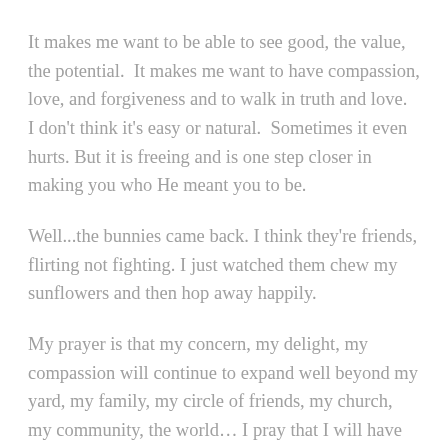It makes me want to be able to see good, the value, the potential.  It makes me want to have compassion, love, and forgiveness and to walk in truth and love.  I don't think it's easy or natural.  Sometimes it even hurts. But it is freeing and is one step closer in making you who He meant you to be.
Well...the bunnies came back. I think they're friends, flirting not fighting. I just watched them chew my sunflowers and then hop away happily.
My prayer is that my concern, my delight, my compassion will continue to expand well beyond my yard, my family, my circle of friends, my church, my community, the world... I pray that I will have eyes to see, ears to hear, hands to help, and a heart to love.